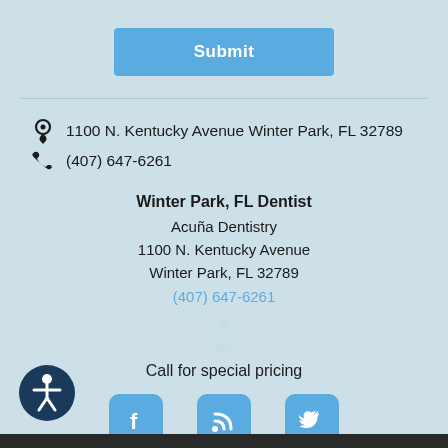Submit
1100 N. Kentucky Avenue Winter Park, FL 32789
(407) 647-6261
Winter Park, FL Dentist
Acuña Dentistry
1100 N. Kentucky Avenue
Winter Park, FL 32789
(407) 647-6261
Call for special pricing
[Figure (illustration): Social media icons: Facebook, RSS feed, Twitter — blue rounded square buttons]
[Figure (logo): Accessibility icon — dark blue circle with white person/wheelchair figure]